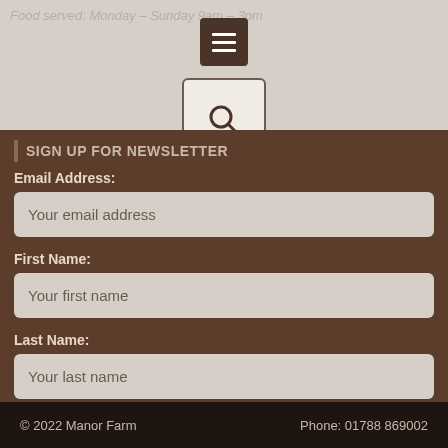Food served: Monday – Sunday 9am – 3pm
SIGN UP FOR NEWSLETTER
Email Address:
Your email address
First Name:
Your first name
Last Name:
Your last name
Sign up
© 2022 Manor Farm    Phone: 01788 869002